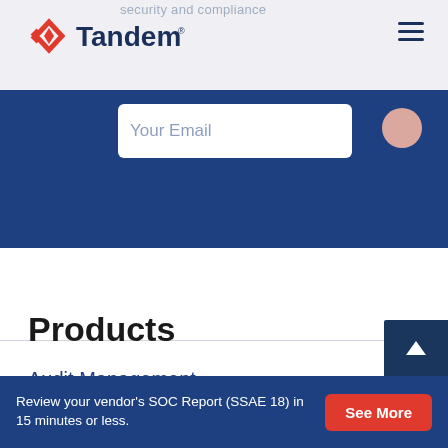Tandem — Security and Compliance
security and compliance
Your Email
Products
Audit Management
Business Continuity Planning
Compliance Management
Review your vendor's SOC Report (SSAE 18) in 15 minutes or less.
See More